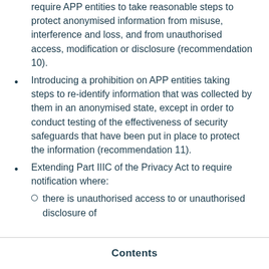require APP entities to take reasonable steps to protect anonymised information from misuse, interference and loss, and from unauthorised access, modification or disclosure (recommendation 10).
Introducing a prohibition on APP entities taking steps to re-identify information that was collected by them in an anonymised state, except in order to conduct testing of the effectiveness of security safeguards that have been put in place to protect the information (recommendation 11).
Extending Part IIIC of the Privacy Act to require notification where:
there is unauthorised access to or unauthorised disclosure of
Contents